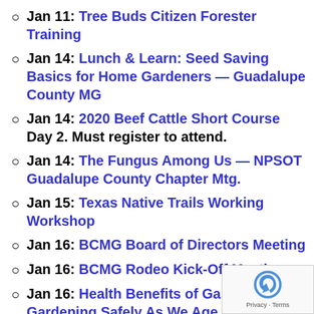Jan 11: Tree Buds Citizen Forester Training
Jan 14: Lunch & Learn: Seed Saving Basics for Home Gardeners — Guadalupe County MG
Jan 14: 2020 Beef Cattle Short Course Day 2.  Must register to attend.
Jan 14: The Fungus Among Us — NPSOT Guadalupe County Chapter Mtg.
Jan 15: Texas Native Trails Working Workshop
Jan 16: BCMG Board of Directors Meeting
Jan 16: BCMG Rodeo Kick-Off Meeting
Jan 16: Health Benefits of Gardening — Gardening Safely As We Age — Guadalupe